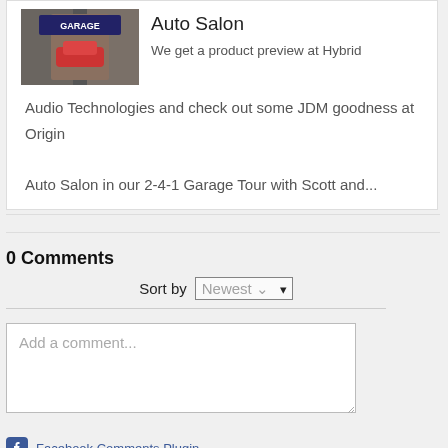[Figure (screenshot): Thumbnail image showing two men faces and a car garage scene with text overlay 'GARAGE']
Auto Salon
We get a product preview at Hybrid Audio Technologies and check out some JDM goodness at Origin Auto Salon in our 2-4-1 Garage Tour with Scott and...
0 Comments
Sort by Newest
Add a comment...
Facebook Comments Plugin